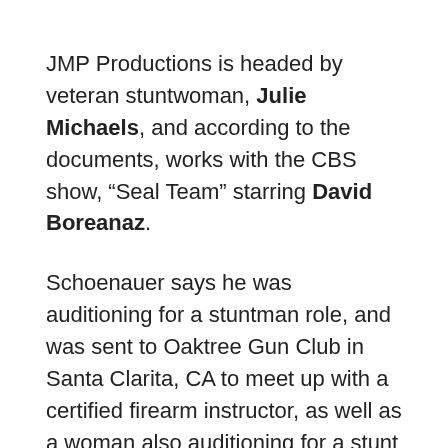JMP Productions is headed by veteran stuntwoman, Julie Michaels, and according to the documents, works with the CBS show, “Seal Team” starring David Boreanaz.
Schoenauer says he was auditioning for a stuntman role, and was sent to Oaktree Gun Club in Santa Clarita, CA to meet up with a certified firearm instructor, as well as a woman also auditioning for a stunt role.